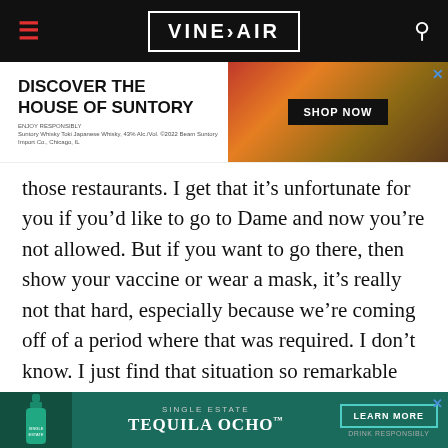VINEPAIR
[Figure (screenshot): Advertisement banner for House of Suntory whisky with text 'DISCOVER THE HOUSE OF SUNTORY' and a SHOP NOW button, showing a bottle of Suntory whisky against a wooden background.]
those restaurants. I get that it's unfortunate for you if you'd like to go to Dame and now you're not allowed. But if you want to go there, then show your vaccine or wear a mask, it's really not that hard, especially because we're coming off of a period where that was required. I don't know. I just find that situation so remarkable and how it escalated. The restaurant said that they were receiving a number of one-star Yelp reviews, which is a w
[Figure (screenshot): Advertisement banner for Single Estate Tequila Ocho with a bottle image and a 'LEARN MORE' button on teal background.]